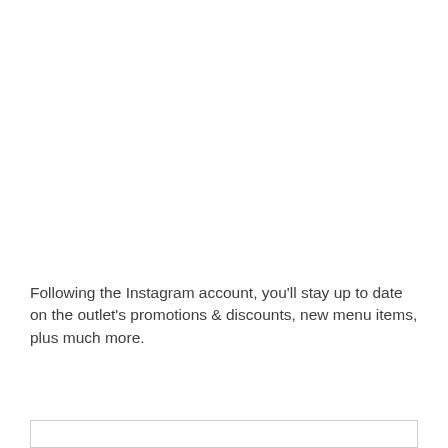Following the Instagram account, you'll stay up to date on the outlet's promotions & discounts, new menu items, plus much more.